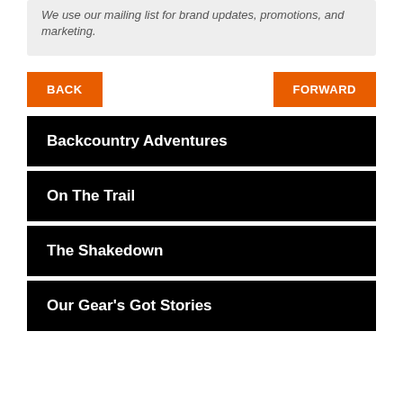We use our mailing list for brand updates, promotions, and marketing.
BACK
FORWARD
Backcountry Adventures
On The Trail
The Shakedown
Our Gear's Got Stories